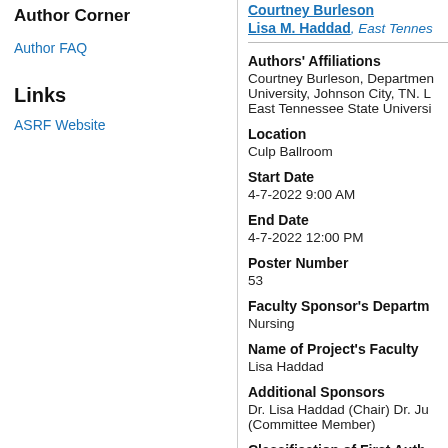Author Corner
Author FAQ
Links
ASRF Website
Courtney Burleson
Lisa M. Haddad, East Tennes...
Authors' Affiliations
Courtney Burleson, Department... University, Johnson City, TN. L... East Tennessee State Universi...
Location
Culp Ballroom
Start Date
4-7-2022 9:00 AM
End Date
4-7-2022 12:00 PM
Poster Number
53
Faculty Sponsor's Departm...
Nursing
Name of Project's Faculty...
Lisa Haddad
Additional Sponsors
Dr. Lisa Haddad (Chair) Dr. Ju... (Committee Member)
Classification of First Auth...